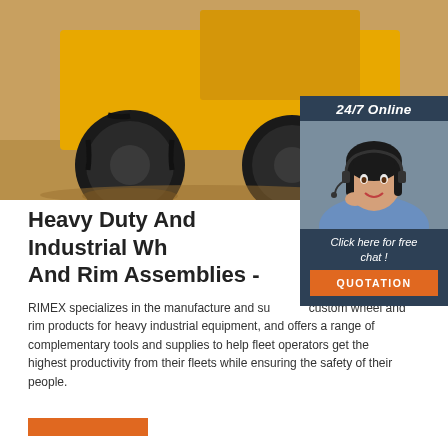[Figure (photo): Yellow heavy industrial equipment (motor grader/compactor) with large black tires and ripper attachments, parked on sandy/dusty ground. Close-up view showing the front tires and ripper teeth.]
[Figure (photo): 24/7 Online chat widget. Dark blue background panel with text '24/7 Online', photo of a smiling woman wearing a headset (customer service representative), italic text 'Click here for free chat !', and an orange button with text 'QUOTATION'.]
Heavy Duty And Industrial Wheel And Rim Assemblies -
RIMEX specializes in the manufacture and supply of custom wheel and rim products for heavy industrial equipment, and offers a range of complementary tools and supplies to help fleet operators get the highest productivity from their fleets while ensuring the safety of their people.